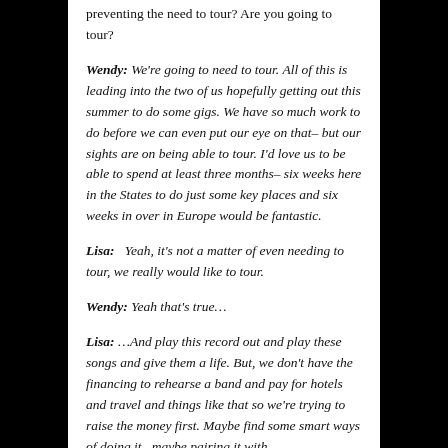preventing the need to tour? Are you going to tour?
Wendy: We're going to need to tour. All of this is leading into the two of us hopefully getting out this summer to do some gigs. We have so much work to do before we can even put our eye on that– but our sights are on being able to tour. I'd love us to be able to spend at least three months– six weeks here in the States to do just some key places and six weeks in over in Europe would be fantastic.
Lisa:  Yeah, it's not a matter of even needing to tour, we really would like to tour.
Wendy: Yeah that's true…
Lisa: …And play this record out and play these songs and give them a life. But, we don't have the financing to rehearse a band and pay for hotels and travel and things like that so we're trying to raise the money first. Maybe find some smart ways of doing it– maybe pairing it with